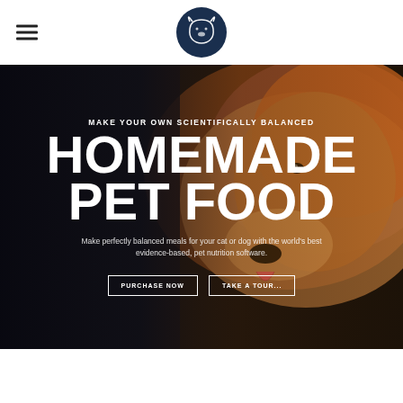[Figure (logo): Circular pet logo with dog/cat silhouette in dark navy blue, used as website header logo]
[Figure (photo): Close-up photo of a golden retriever dog with its tongue out, used as hero section background image]
MAKE YOUR OWN SCIENTIFICALLY BALANCED
HOMEMADE PET FOOD
Make perfectly balanced meals for your cat or dog with the world's best evidence-based, pet nutrition software.
PURCHASE NOW
TAKE A TOUR...